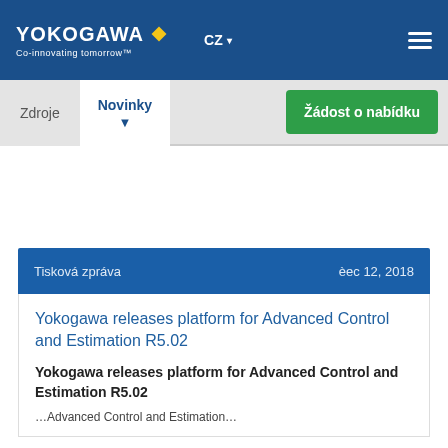YOKOGAWA Co-innovating tomorrow — CZ
Zdroje  Novinky  Žádost o nabídku
Tisková zpráva  èec 12, 2018
Yokogawa releases platform for Advanced Control and Estimation R5.02
Yokogawa releases platform for Advanced Control and Estimation R5.02
...Advanced Control and Estimation...